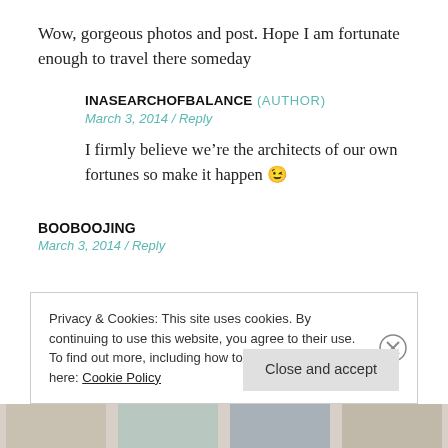Wow, gorgeous photos and post. Hope I am fortunate enough to travel there someday
INASEARCHOFBALANCE (AUTHOR)
March 3, 2014 / Reply
I firmly believe we’re the architects of our own fortunes so make it happen 😉
BOOBOOJING
March 3, 2014 / Reply
Privacy & Cookies: This site uses cookies. By continuing to use this website, you agree to their use.
To find out more, including how to control cookies, see here: Cookie Policy
Close and accept